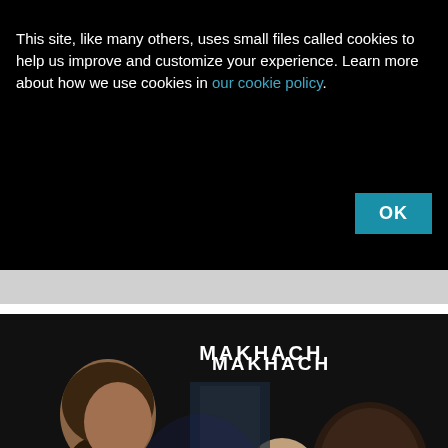This site, like many others, uses small files called cookies to help us improve and customize your experience. Learn more about how we use cookies in our cookie policy.
[Figure (screenshot): YouTube-style video thumbnail of a UFC weigh-in scene showing a bearded fighter (Islam Makhachev) on the left, an interviewer with a UFC microphone on the right, and a third person in the background. Text 'MAKHACH' visible in upper center. A red YouTube play button overlay is centered on the image. A 'CLOSE' button appears at lower right.]